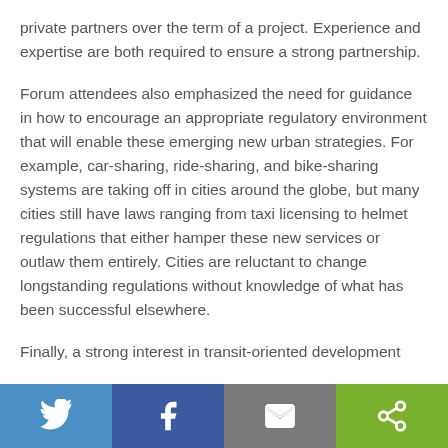private partners over the term of a project. Experience and expertise are both required to ensure a strong partnership.
Forum attendees also emphasized the need for guidance in how to encourage an appropriate regulatory environment that will enable these emerging new urban strategies. For example, car-sharing, ride-sharing, and bike-sharing systems are taking off in cities around the globe, but many cities still have laws ranging from taxi licensing to helmet regulations that either hamper these new services or outlaw them entirely. Cities are reluctant to change longstanding regulations without knowledge of what has been successful elsewhere.
Finally, a strong interest in transit-oriented development